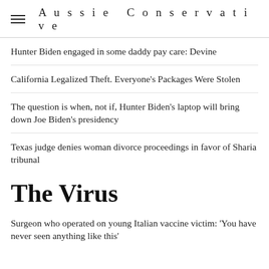Aussie Conservative
Hunter Biden engaged in some daddy pay care: Devine
California Legalized Theft. Everyone's Packages Were Stolen
The question is when, not if, Hunter Biden's laptop will bring down Joe Biden's presidency
Texas judge denies woman divorce proceedings in favor of Sharia tribunal
The Virus
Surgeon who operated on young Italian vaccine victim: 'You have never seen anything like this'